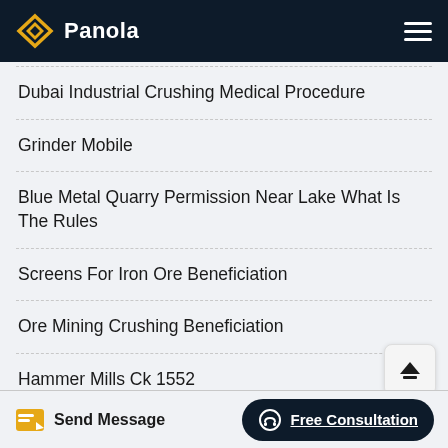Panola
Dubai Industrial Crushing Medical Procedure
Grinder Mobile
Blue Metal Quarry Permission Near Lake What Is The Rules
Screens For Iron Ore Beneficiation
Ore Mining Crushing Beneficiation
Hammer Mills Ck 1552
Send Message  Free Consultation